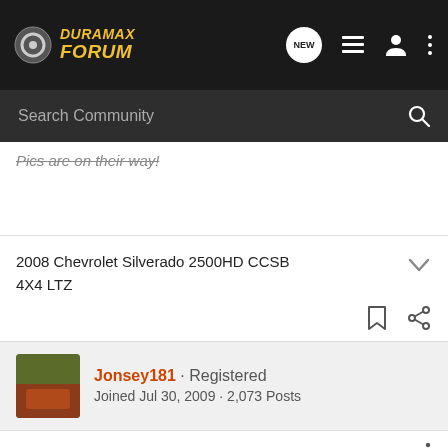Duramax Forum
Pics are on their way!
2008 Chevrolet Silverado 2500HD CCSB 4X4 LTZ
Jonsey181 · Registered
Joined Jul 30, 2009 · 2,073 Posts
#8 · Mar 25, 2010
Ray looks very proffesional Great work!